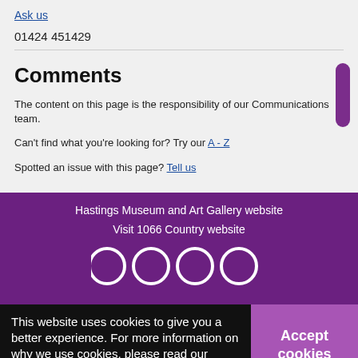Ask us
01424 451429
Comments
The content on this page is the responsibility of our Communications team.
Can't find what you're looking for? Try our A - Z
Spotted an issue with this page? Tell us
Hastings Museum and Art Gallery website
Visit 1066 Country website
[Figure (other): Social media icons (four circular outlines in white)]
This website uses cookies to give you a better experience. For more information on why we use cookies, please read our cookie policy
Accept cookies